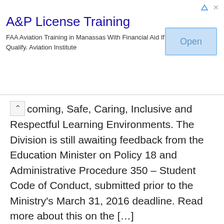[Figure (other): Advertisement banner: A&P License Training — FAA Aviation Training in Manassas With Financial Aid If You Qualify. Aviation Institute. With an Open button on the right.]
coming, Safe, Caring, Inclusive and Respectful Learning Environments. The Division is still awaiting feedback from the Education Minister on Policy 18 and Administrative Procedure 350 – Student Code of Conduct, submitted prior to the Ministry's March 31, 2016 deadline. Read more about this on the […]
May 3, 2016